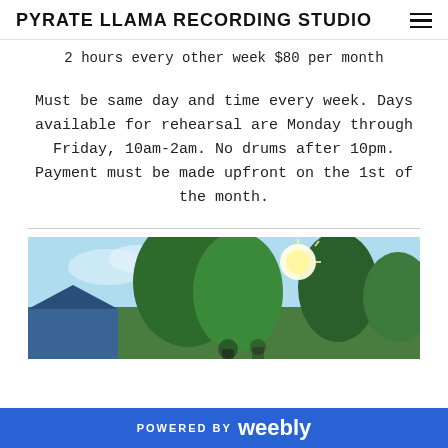PYRATE LLAMA RECORDING STUDIO
2 hours every other week $80 per month
Must be same day and time every week. Days available for rehearsal are Monday through Friday, 10am-2am. No drums after 10pm. Payment must be made upfront on the 1st of the month.
[Figure (photo): Outdoor photo showing trees with bright sunlight and a building with blue roof visible in the lower left.]
POWERED BY weebly